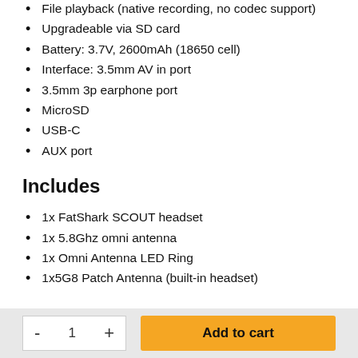File playback (native recording, no codec support)
Upgradeable via SD card
Battery: 3.7V, 2600mAh (18650 cell)
Interface: 3.5mm AV in port
3.5mm 3p earphone port
MicroSD
USB-C
AUX port
Includes
1x FatShark SCOUT headset
1x 5.8Ghz omni antenna
1x Omni Antenna LED Ring
1x5G8 Patch Antenna (built-in headset)